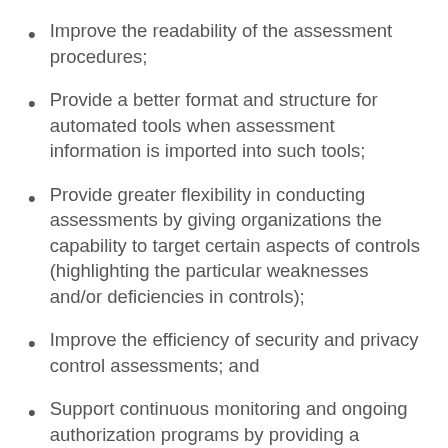Improve the readability of the assessment procedures;
Provide a better format and structure for automated tools when assessment information is imported into such tools;
Provide greater flexibility in conducting assessments by giving organizations the capability to target certain aspects of controls (highlighting the particular weaknesses and/or deficiencies in controls);
Improve the efficiency of security and privacy control assessments; and
Support continuous monitoring and ongoing authorization programs by providing a greater number of component parts of security and